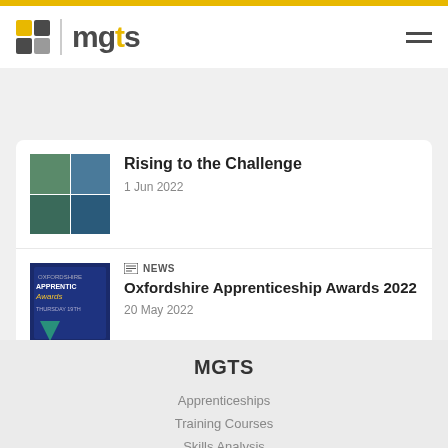mgts
Rising to the Challenge
1 Jun 2022
NEWS
Oxfordshire Apprenticeship Awards 2022
20 May 2022
MGTS
Apprenticeships
Training Courses
Skills Analysis